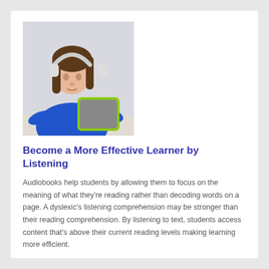[Figure (photo): A young girl with long brown hair wearing white headphones, dressed in a blue long-sleeve shirt, looking down at a tablet with a green and grey case, seated at a table with a light background.]
Become a More Effective Learner by Listening
Audiobooks help students by allowing them to focus on the meaning of what they're reading rather than decoding words on a page. A dyslexic's listening comprehension may be stronger than their reading comprehension. By listening to text, students access content that's above their current reading levels making learning more efficient.